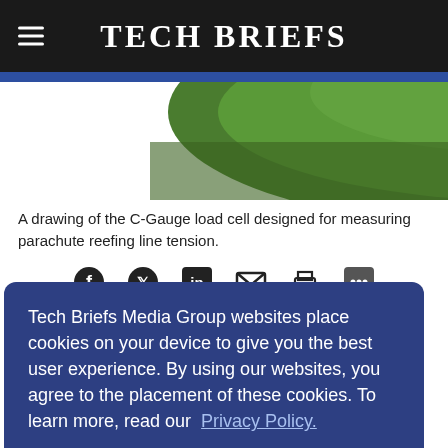Tech Briefs
[Figure (illustration): Partial view of a green C-Gauge load cell drawing, bottom portion visible against white background]
A drawing of the C-Gauge load cell designed for measuring parachute reefing line tension.
[Figure (infographic): Row of social sharing icons: Facebook, Twitter, LinkedIn, Email, Print, and one more]
Tech Briefs Media Group websites place cookies on your device to give you the best user experience. By using our websites, you agree to the placement of these cookies. To learn more, read our Privacy Policy.
Accept & Continue
...ension ...based ...s and ...p, and ...on and ...rrying cords.